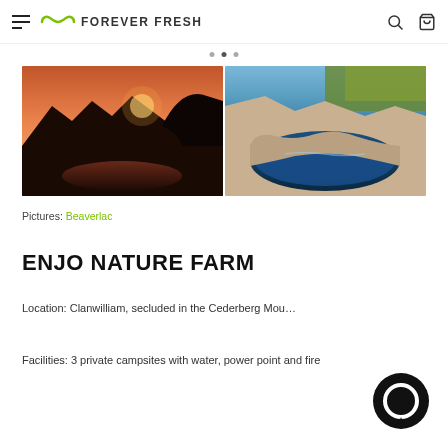FOREVER FRESH
[Figure (photo): Two side-by-side landscape photos: left shows a dramatic canyon at sunset with warm orange/red hues and a reflective pool; right shows a rocky natural pool with crystal blue water and green shrubs.]
Pictures: Beaverlac
ENJO NATURE FARM
Location: Clanwilliam, secluded in the Cederberg Mou…
Facilities: 3 private campsites with water, power point and fire